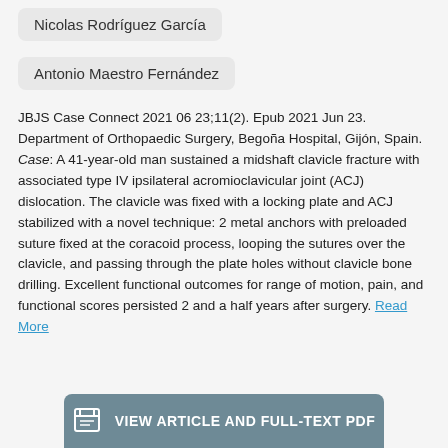Nicolas Rodríguez García
Antonio Maestro Fernández
JBJS Case Connect 2021 06 23;11(2). Epub 2021 Jun 23. Department of Orthopaedic Surgery, Begoña Hospital, Gijón, Spain. Case: A 41-year-old man sustained a midshaft clavicle fracture with associated type IV ipsilateral acromioclavicular joint (ACJ) dislocation. The clavicle was fixed with a locking plate and ACJ stabilized with a novel technique: 2 metal anchors with preloaded suture fixed at the coracoid process, looping the sutures over the clavicle, and passing through the plate holes without clavicle bone drilling. Excellent functional outcomes for range of motion, pain, and functional scores persisted 2 and a half years after surgery. Read More
VIEW ARTICLE AND FULL-TEXT PDF